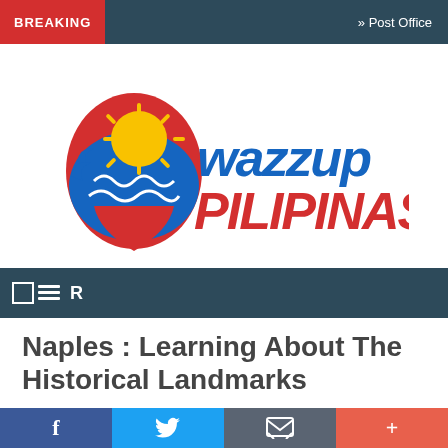BREAKING  » Post Office
[Figure (logo): Wazzup Pilipinas logo with Philippine flag colors — blue, red, yellow sun with rays, wave motifs, bold stylized text 'wazzup pilipinas']
≡  R
Naples : Learning About The Historical Landmarks